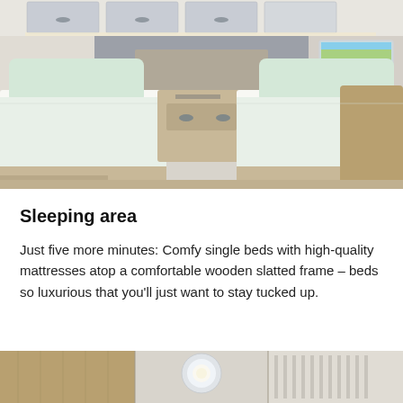[Figure (photo): Interior of a caravan or motorhome sleeping area showing two single beds with light green bedding and high-quality mattresses on wooden slatted frames, wooden cabinetry with overhead storage, a window showing a countryside view, and warm interior lighting.]
Sleeping area
Just five more minutes: Comfy single beds with high-quality mattresses atop a comfortable wooden slatted frame – beds so luxurious that you'll just want to stay tucked up.
[Figure (photo): Bottom strip showing partial interior details of the caravan including wooden panels, ceiling light, and storage details.]